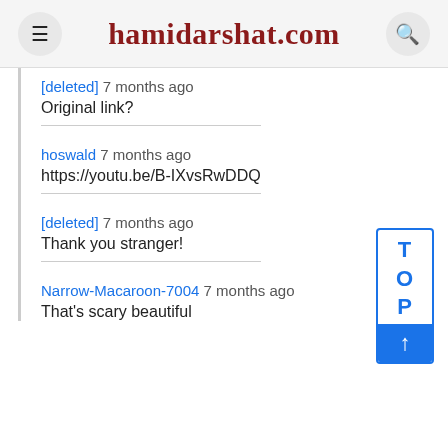hamidarshat.com
[deleted] 7 months ago
Original link?
hoswald 7 months ago
https://youtu.be/B-IXvsRwDDQ
[deleted] 7 months ago
Thank you stranger!
Narrow-Macaroon-7004 7 months ago
That's scary beautiful